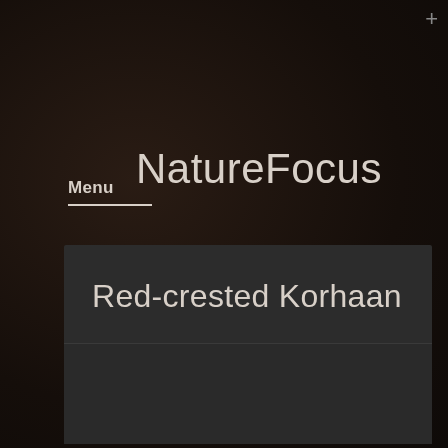NatureFocus
Menu
Red-crested Korhaan